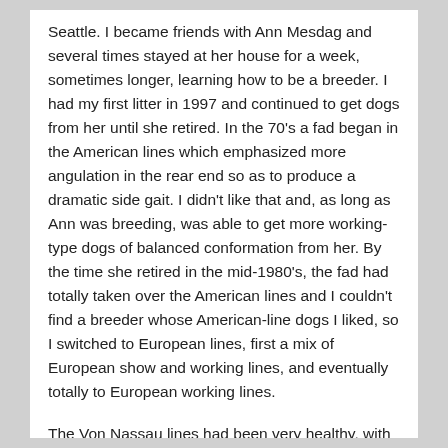Seattle. I became friends with Ann Mesdag and several times stayed at her house for a week, sometimes longer, learning how to be a breeder. I had my first litter in 1997 and continued to get dogs from her until she retired. In the 70's a fad began in the American lines which emphasized more angulation in the rear end so as to produce a dramatic side gait. I didn't like that and, as long as Ann was breeding, was able to get more working-type dogs of balanced conformation from her. By the time she retired in the mid-1980's, the fad had totally taken over the American lines and I couldn't find a breeder whose American-line dogs I liked, so I switched to European lines, first a mix of European show and working lines, and eventually totally to European working lines.
The Von Nassau lines had been very healthy, with good hips, and I was surprised by my first few European dogs when they came up with eye problems, heart problems, immune system problems, and hip and elbow problems. I increased the number of health screenings that I did before passing a dog for breeding. Eventually I found a